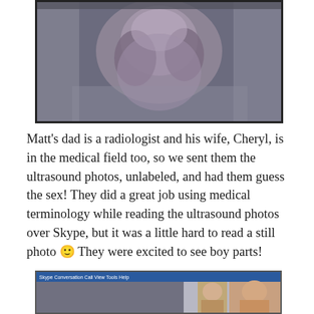[Figure (photo): A low-resolution/webcam-quality photo showing a person with a cat or pet animal, indoors on a couch, blue/purple tones.]
Matt's dad is a radiologist and his wife, Cheryl, is in the medical field too, so we sent them the ultrasound photos, unlabeled, and had them guess the sex! They did a great job using medical terminology while reading the ultrasound photos over Skype, but it was a little hard to read a still photo 🙂 They were excited to see boy parts!
[Figure (screenshot): A screenshot of a Skype video call showing two people, with Skype interface visible at top.]